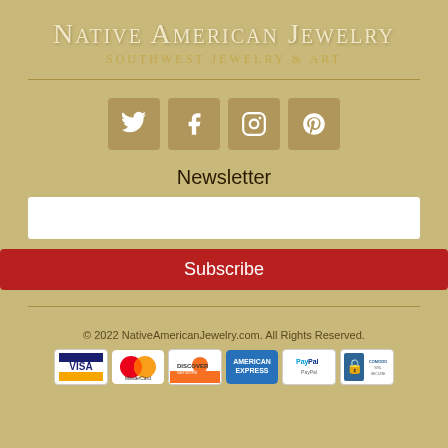Native American Jewelry
Southwest Jewelry & Art
[Figure (infographic): Four social media icon buttons: Twitter, Facebook, Instagram, Pinterest on tan/gold square backgrounds]
Newsletter
(Email input field)
Subscribe
© 2022 NativeAmericanJewelry.com. All Rights Reserved.
[Figure (infographic): Payment method logos: Visa, MasterCard, Discover Network, American Express, PayPal, Comodo SSL Secure]